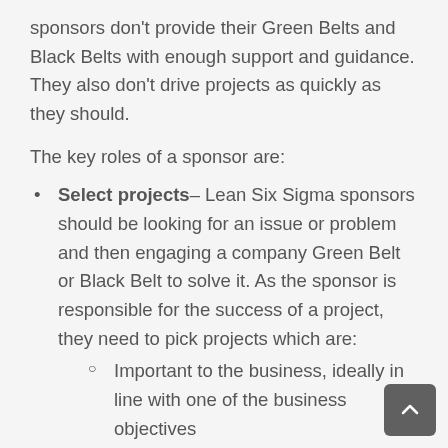sponsors don't provide their Green Belts and Black Belts with enough support and guidance. They also don't drive projects as quickly as they should.
The key roles of a sponsor are:
Select projects– Lean Six Sigma sponsors should be looking for an issue or problem and then engaging a company Green Belt or Black Belt to solve it. As the sponsor is responsible for the success of a project, they need to pick projects which are:
Important to the business, ideally in line with one of the business objectives
Not so simple that anyone given some time would solve them.